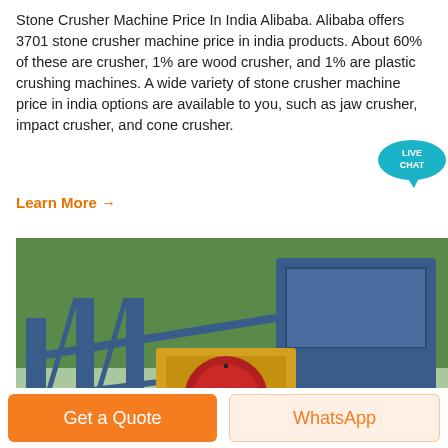Stone Crusher Machine Price In India Alibaba. Alibaba offers 3701 stone crusher machine price in india products. About 60% of these are crusher, 1% are wood crusher, and 1% are plastic crushing machines. A wide variety of stone crusher machine price in india options are available to you, such as jaw crusher, impact crusher, and cone crusher.
Learn More →
[Figure (photo): Industrial stone crusher machine on a construction/mining site showing blue steel frame structure with yellow jaw crusher unit, conveyor belts, and green trees in background.]
[Figure (infographic): Live Chat bubble icon in teal/blue color with 'LIVE CHAT' text, overlaid in upper right area.]
Get a Quote
WhatsApp